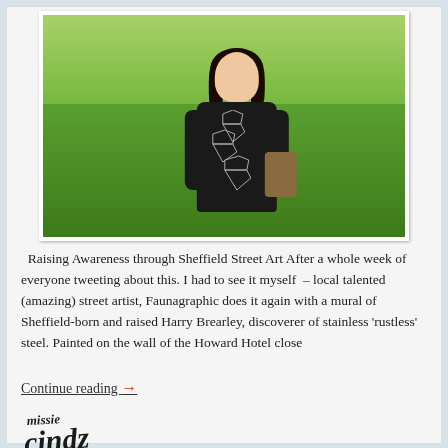[Figure (photo): Young woman smiling, wearing a black sweatshirt with diamond patterns, standing on green grass outdoors. Photo has white polaroid-style border.]
Raising Awareness through Sheffield Street Art After a whole week of everyone tweeting about this. I had to see it myself – local talented (amazing) street artist, Faunagraphic does it again with a mural of Sheffield-born and raised Harry Brearley, discoverer of stainless 'rustless' steel. Painted on the wall of the Howard Hotel close
Continue reading →
[Figure (illustration): Handwritten signature reading 'missie cindz' in stylized script]